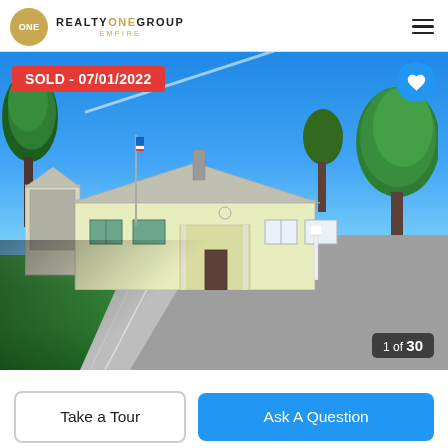REALTY ONE GROUP EMPIRE
[Figure (photo): Exterior photo of a single-story ranch-style home with white/cream siding, green shutters, a large front lawn, mature trees, American flag on a flagpole, blue sky with a jet contrail, and a residential street. Overlaid with a red 'SOLD - 07/01/2022' badge, a blue heart button, and a '1 of 30' photo counter.]
Take a Tour
Ask A Question